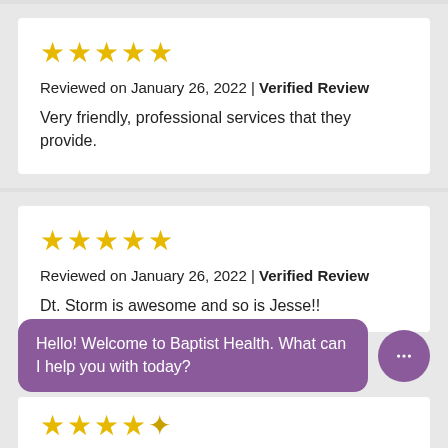★★★★★
Reviewed on January 26, 2022 | Verified Review
Very friendly, professional services that they provide.
★★★★★
Reviewed on January 26, 2022 | Verified Review
Dt. Storm is awesome and so is Jesse!!
Hello! Welcome to Baptist Health. What can I help you with today?
★★★★☆